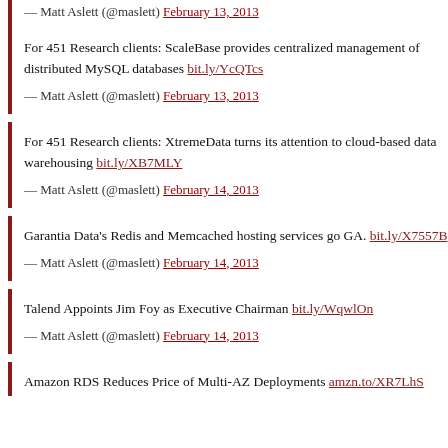— Matt Aslett (@maslett) February 13, 2013
For 451 Research clients: ScaleBase provides centralized management of distributed MySQL databases bit.ly/YcQTcs
— Matt Aslett (@maslett) February 13, 2013
For 451 Research clients: XtremeData turns its attention to cloud-based data warehousing bit.ly/XB7MLY
— Matt Aslett (@maslett) February 14, 2013
Garantia Data's Redis and Memcached hosting services go GA. bit.ly/X7557B
— Matt Aslett (@maslett) February 14, 2013
Talend Appoints Jim Foy as Executive Chairman bit.ly/WqwlOn
— Matt Aslett (@maslett) February 14, 2013
Amazon RDS Reduces Price of Multi-AZ Deployments amzn.to/XR7LhS